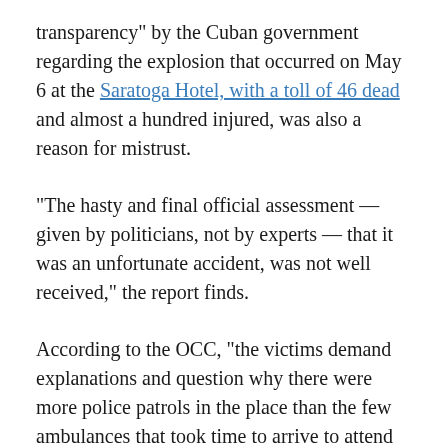transparency" by the Cuban government regarding the explosion that occurred on May 6 at the Saratoga Hotel, with a toll of 46 dead and almost a hundred injured, was also a reason for mistrust.
“The hasty and final official assessment — given by politicians, not by experts — that it was an unfortunate accident, was not well received,” the report finds.
According to the OCC, “the victims demand explanations and question why there were more police patrols in the place than the few ambulances that took time to arrive to attend to the wounded.”